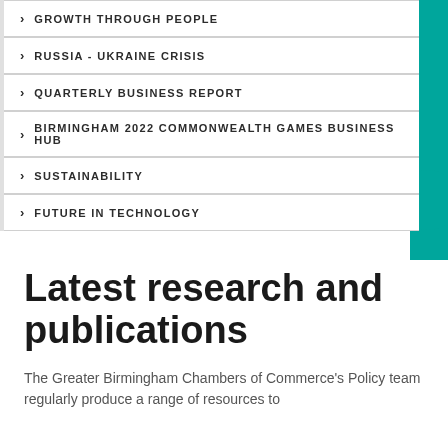GROWTH THROUGH PEOPLE
RUSSIA - UKRAINE CRISIS
QUARTERLY BUSINESS REPORT
BIRMINGHAM 2022 COMMONWEALTH GAMES BUSINESS HUB
SUSTAINABILITY
FUTURE IN TECHNOLOGY
Latest research and publications
The Greater Birmingham Chambers of Commerce's Policy team regularly produce a range of resources to